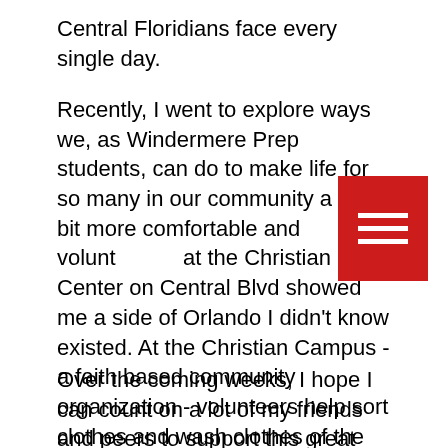Central Floridians face every single day.
Recently, I went to explore ways we, as Windermere Prep students, can do to make life for so many in our community a little bit more comfortable and volunteering at the Christian Center on Central Blvd showed me a side of Orlando I didn't know existed. At the Christian Campus - a faith based community organization - volunteers help sort clothes and wash clothes of the homeless.  Showers are provided and hearing the last call of the day, meant many citizens wouldn't get their chance to wash the day away in one of just a few mobile shower stalls.  It hits hard.
Over the coming weeks, I hope I can count on a lot of my friends and peers to support this great cause.  More details to follow.....